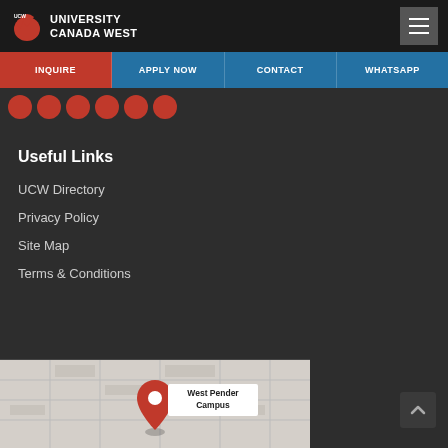University Canada West
INQUIRE | APPLY NOW | CONTACT | WHATSAPP
Useful Links
UCW Directory
Privacy Policy
Site Map
Terms & Conditions
[Figure (map): Map showing West Pender Campus location with red pin marker]